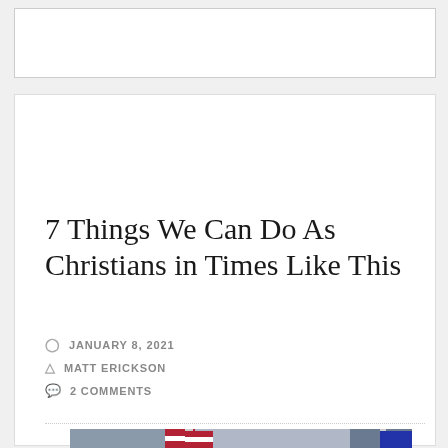[Figure (other): Advertisement banner placeholder (white rectangle)]
7 Things We Can Do As Christians in Times Like This
JANUARY 8, 2021
MATT ERICKSON
2 COMMENTS
[Figure (photo): Crowd scene showing protesters and police officers at the U.S. Capitol, with American flags visible in the background and officers in helmets and high-visibility vests in the foreground.]